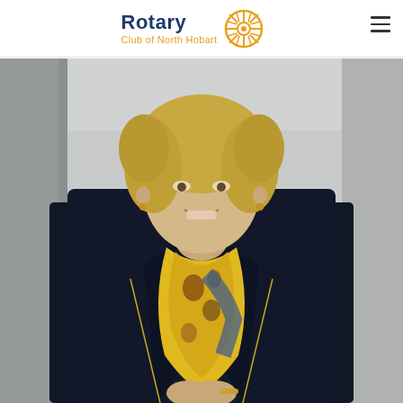Rotary Club of North Hobart
[Figure (photo): A woman with curly blonde hair wearing a navy blazer and colorful yellow patterned scarf, smiling at the camera, photographed indoors at what appears to be a Rotary Club event.]